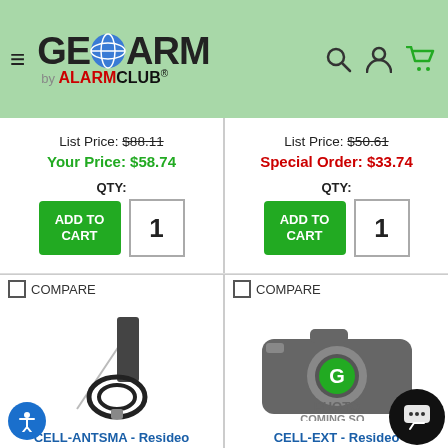[Figure (logo): GeoArm by AlarmClub logo with hamburger menu and search/user/cart icons on green header]
List Price: $88.11
Your Price: $58.74
QTY:
ADD TO CART
1
List Price: $50.61
Special Order: $33.74
QTY:
ADD TO CART
1
COMPARE
[Figure (photo): CELL-ANTSMA antenna product photo - antenna with cable on white background]
CELL-ANTSMA - Resideo
COMPARE
[Figure (photo): CELL-EXT product - photo coming soon placeholder with GeoArm camera icon]
CELL-EXT - Resideo